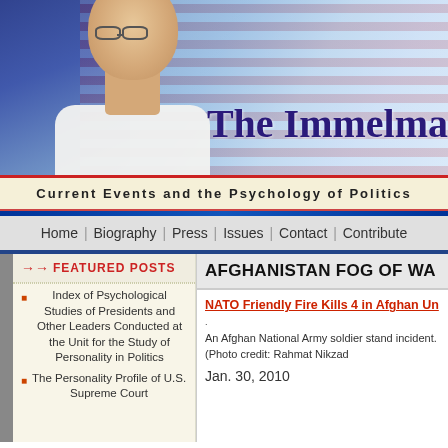[Figure (photo): Website banner header with a man in a white shirt in front of an American flag, with the partial title 'The Immelma' visible on the right side]
Current Events and the Psychology of Politics
Home | Biography | Press | Issues | Contact | Contribute
FEATURED POSTS
Index of Psychological Studies of Presidents and Other Leaders Conducted at the Unit for the Study of Personality in Politics
The Personality Profile of U.S. Supreme Court
AFGHANISTAN FOG OF WA
NATO Friendly Fire Kills 4 in Afghan Un
An Afghan National Army soldier stand incident. (Photo credit: Rahmat Nikzad
Jan. 30, 2010